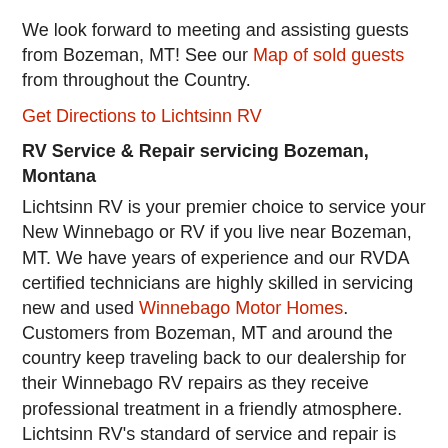We look forward to meeting and assisting guests from Bozeman, MT! See our Map of sold guests from throughout the Country.
Get Directions to Lichtsinn RV
RV Service & Repair servicing Bozeman, Montana
Lichtsinn RV is your premier choice to service your New Winnebago or RV if you live near Bozeman, MT. We have years of experience and our RVDA certified technicians are highly skilled in servicing new and used Winnebago Motor Homes. Customers from Bozeman, MT and around the country keep traveling back to our dealership for their Winnebago RV repairs as they receive professional treatment in a friendly atmosphere. Lichtsinn RV's standard of service and repair is unprecedented! See what our guests have to say about their experience with the Lichtsinn RV Service Department.
Schedule Service
Winnebago RV Parts for Bozeman, Montana